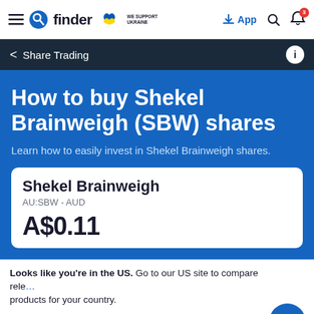finder — We Support Ukraine | App | Search | Notifications (3)
< Share Trading
How to buy Shekel Brainweigh (SBW) shares
Learn how to easily invest in Shekel Brainweigh shares.
Shekel Brainweigh
AU:SBW - AUD
A$0.11
Looks like you're in the US. Go to our US site to compare relevant products for your country.
Go to Finder US
No, stay on this page